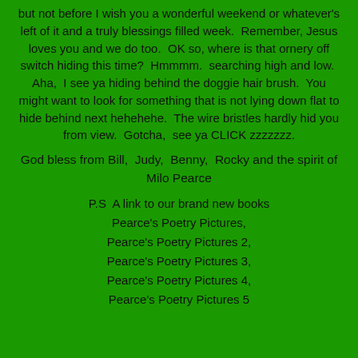but not before I wish you a wonderful weekend or whatever's left of it and a truly blessings filled week.  Remember, Jesus loves you and we do too.  OK so, where is that ornery off switch hiding this time?  Hmmmm.  searching high and low.  Aha,  I see ya hiding behind the doggie hair brush.  You might want to look for something that is not lying down flat to hide behind next hehehehe.  The wire bristles hardly hid you from view.  Gotcha,  see ya CLICK zzzzzzz.
God bless from Bill,  Judy,  Benny,  Rocky and the spirit of Milo Pearce
P.S  A link to our brand new books Pearce's Poetry Pictures, Pearce's Poetry Pictures 2, Pearce's Poetry Pictures 3, Pearce's Poetry Pictures 4, Pearce's Poetry Pictures 5